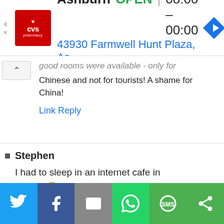[Figure (screenshot): CVS Pharmacy advertisement banner showing Ashburn location, OPEN status, hours 08:00-00:00, address 43930 Farmwell Hunt Plaza, As...]
...good rooms were available - only for Chinese and not for tourists! A shame for China!
Link Reply
Stephen
I had to sleep in an internet cafe in Beijing 😊
[Figure (screenshot): Social share bar with Twitter, Facebook, Email, WhatsApp, SMS, and share buttons]